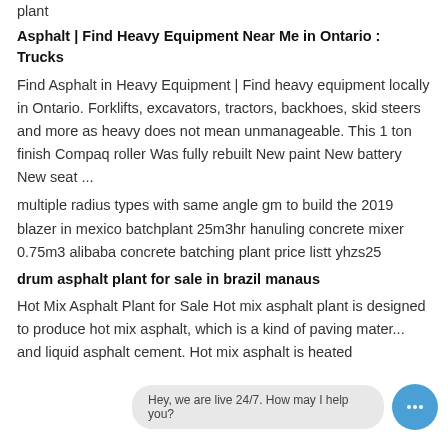plant
Asphalt | Find Heavy Equipment Near Me in Ontario : Trucks
Find Asphalt in Heavy Equipment | Find heavy equipment locally in Ontario. Forklifts, excavators, tractors, backhoes, skid steers and more as heavy does not mean unmanageable. This 1 ton finish Compaq roller Was fully rebuilt New paint New battery New seat ...
multiple radius types with same angle gm to build the 2019 blazer in mexico batchplant 25m3hr hanuling concrete mixer 0.75m3 alibaba concrete batching plant price listt yhzs25
drum asphalt plant for sale in brazil manaus
Hot Mix Asphalt Plant for Sale Hot mix asphalt plant is designed to produce hot mix asphalt, which is a kind of paving mater... and liquid asphalt cement. Hot mix asphalt is heated